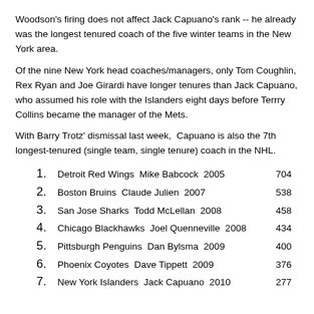Woodson's firing does not affect Jack Capuano's rank -- he already was the longest tenured coach of the five winter teams in the New York area.
Of the nine New York head coaches/managers, only Tom Coughlin, Rex Ryan and Joe Girardi have longer tenures than Jack Capuano, who assumed his role with the Islanders eight days before Terrry Collins became the manager of the Mets.
With Barry Trotz' dismissal last week,  Capuano is also the 7th longest-tenured (single team, single tenure) coach in the NHL.
1. Detroit Red Wings  Mike Babcock  2005  704
2. Boston Bruins  Claude Julien  2007  538
3. San Jose Sharks  Todd McLellan  2008  458
4. Chicago Blackhawks  Joel Quenneville  2008  434
5. Pittsburgh Penguins  Dan Bylsma  2009  400
6. Phoenix Coyotes  Dave Tippett  2009  376
7. New York Islanders  Jack Capuano  2010  277